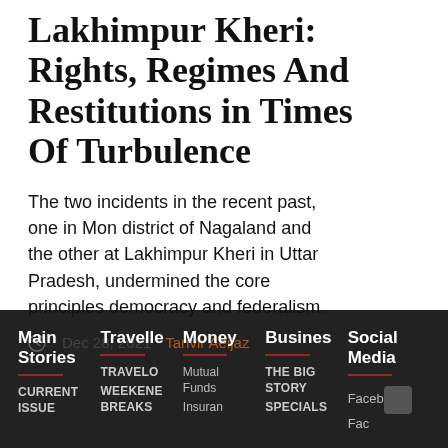Lakhimpur Kheri: Rights, Regimes And Restitutions in Times Of Turbulence
The two incidents in the recent past, one in Mon district of Nagaland and the other at Lakhimpur Kheri in Uttar Pradesh, undermined the core principles democracy and federalism.
Dec 28, 2021   Tanvir Aeijaz
Main Stories | Traveller | Money | Business | Social Media | CURRENT ISSUE | TRAVELO | Mutual Funds | THE BIG STORY | Facebook | WEEKEND BREAKS | Insurance | SPECIALS